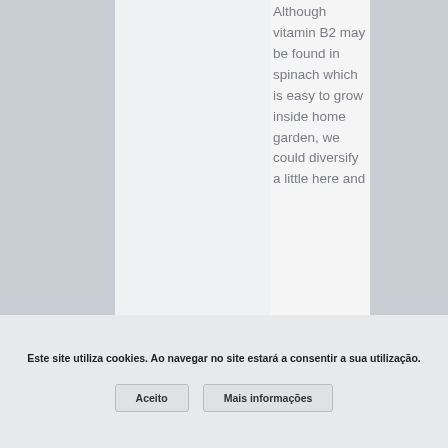Although vitamin B2 may be found in spinach which is easy to grow inside home garden, we could diversify a little here and
Este site utiliza cookies. Ao navegar no site estará a consentir a sua utilização.